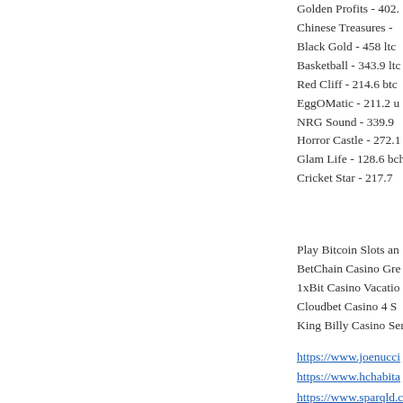Golden Profits - 402.
Chinese Treasures -
Black Gold - 458 ltc
Basketball - 343.9 ltc
Red Cliff - 214.6 btc
EggOMatic - 211.2 u
NRG Sound - 339.9
Horror Castle - 272.1
Glam Life - 128.6 bch
Cricket Star - 217.7
Play Bitcoin Slots an
BetChain Casino Gre
1xBit Casino Vacatio
Cloudbet Casino 4 S
King Billy Casino Ser
https://www.joenucci
https://www.hchabita
https://www.sparqld.c
https://www.advanc